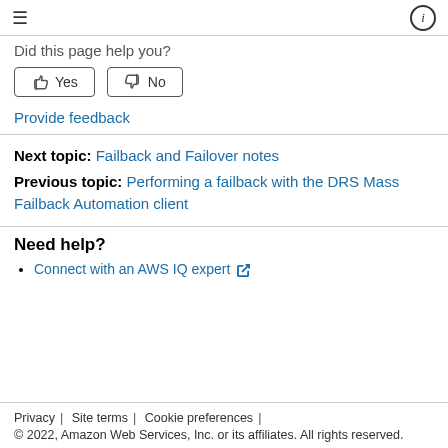≡   ⓘ
Did this page help you?
[Figure (other): Two feedback buttons: thumbs up Yes and thumbs down No]
Provide feedback
Next topic: Failback and Failover notes
Previous topic: Performing a failback with the DRS Mass Failback Automation client
Need help?
Connect with an AWS IQ expert ↗
Privacy | Site terms | Cookie preferences | © 2022, Amazon Web Services, Inc. or its affiliates. All rights reserved.